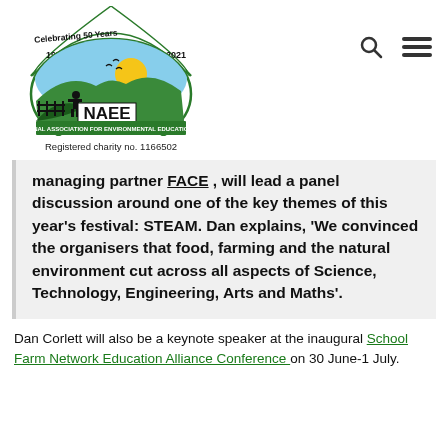[Figure (logo): NAEE (National Association for Environmental Education UK) logo with '1971 Celebrating 50 Years 2021' banner, green landscape with sun and birds, silhouette of person at fence, NAEE text box]
Registered charity no. 1166502
managing partner FACE , will lead a panel discussion around one of the key themes of this year's festival: STEAM. Dan explains, 'We convinced the organisers that food, farming and the natural environment cut across all aspects of Science, Technology, Engineering, Arts and Maths'.
Dan Corlett will also be a keynote speaker at the inaugural School Farm Network Education Alliance Conference  on 30 June-1 July.